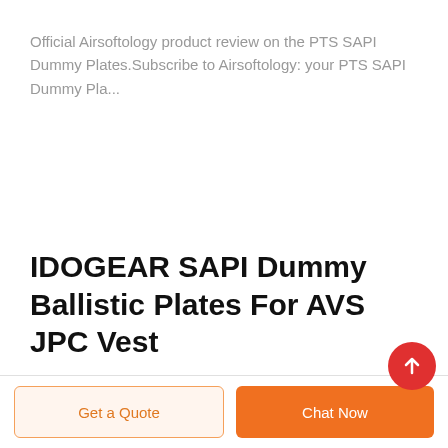Official Airsoftology product review on the PTS SAPI Dummy Plates.Subscribe to Airsoftology: your PTS SAPI Dummy Pla...
IDOGEAR SAPI Dummy Ballistic Plates For AVS JPC Vest
Get a Quote
Chat Now